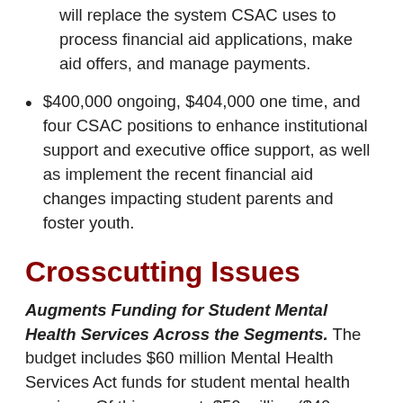will replace the system CSAC uses to process financial aid applications, make aid offers, and manage payments.
$400,000 ongoing, $404,000 one time, and four CSAC positions to enhance institutional support and executive office support, as well as implement the recent financial aid changes impacting student parents and foster youth.
Crosscutting Issues
Augments Funding for Student Mental Health Services Across the Segments. The budget includes $60 million Mental Health Services Act funds for student mental health services. Of this amount, $50 million ($40 million one time and $10 million ongoing) is for a competitive grant program awarded to partnerships between county providers and K-12 education agencies. The